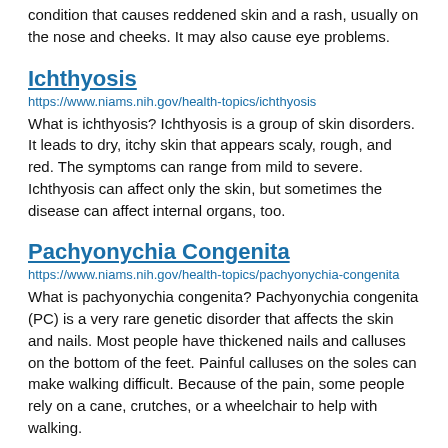condition that causes reddened skin and a rash, usually on the nose and cheeks. It may also cause eye problems.
Ichthyosis
https://www.niams.nih.gov/health-topics/ichthyosis
What is ichthyosis? Ichthyosis is a group of skin disorders. It leads to dry, itchy skin that appears scaly, rough, and red. The symptoms can range from mild to severe. Ichthyosis can affect only the skin, but sometimes the disease can affect internal organs, too.
Pachyonychia Congenita
https://www.niams.nih.gov/health-topics/pachyonychia-congenita
What is pachyonychia congenita? Pachyonychia congenita (PC) is a very rare genetic disorder that affects the skin and nails. Most people have thickened nails and calluses on the bottom of the feet. Painful calluses on the soles can make walking difficult. Because of the pain, some people rely on a cane, crutches, or a wheelchair to help with walking.
Osteoporosis
https://www.niams.nih.gov/health-topics/osteoporosis
What is osteoporosis? Osteoporosis is a disease that causes bones